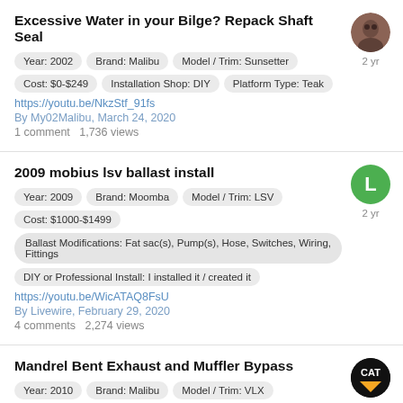Excessive Water in your Bilge? Repack Shaft Seal
Year: 2002   Brand: Malibu   Model / Trim: Sunsetter
Cost: $0-$249   Installation Shop: DIY   Platform Type: Teak
https://youtu.be/NkzStf_91fs
By My02Malibu, March 24, 2020
1 comment   1,736 views
2009 mobius lsv ballast install
Year: 2009   Brand: Moomba   Model / Trim: LSV
Cost: $1000-$1499
Ballast Modifications: Fat sac(s), Pump(s), Hose, Switches, Wiring, Fittings
DIY or Professional Install: I installed it / created it
https://youtu.be/WicATAQ8FsU
By Livewire, February 29, 2020
4 comments   2,274 views
Mandrel Bent Exhaust and Muffler Bypass
Year: 2010   Brand: Malibu   Model / Trim: VLX
Cost: $250-$499
DIY or Professional Install: I installed it / created it